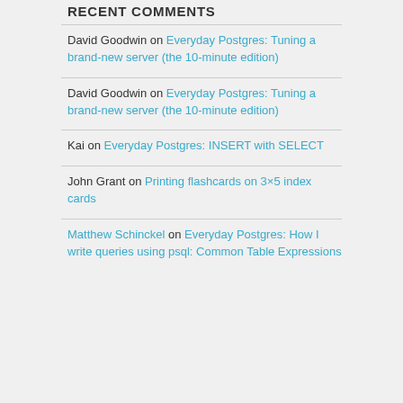RECENT COMMENTS
David Goodwin on Everyday Postgres: Tuning a brand-new server (the 10-minute edition)
David Goodwin on Everyday Postgres: Tuning a brand-new server (the 10-minute edition)
Kai on Everyday Postgres: INSERT with SELECT
John Grant on Printing flashcards on 3×5 index cards
Matthew Schinckel on Everyday Postgres: How I write queries using psql: Common Table Expressions